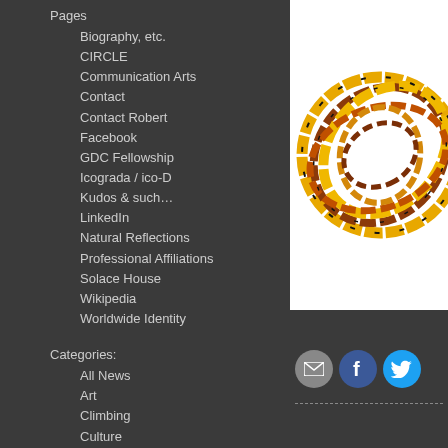Pages
Biography, etc.
CIRCLE
Communication Arts
Contact
Contact Robert
Facebook
GDC Fellowship
Icograda / ico-D
Kudos & such…
LinkedIn
Natural Reflections
Professional Affiliations
Solace House
Wikipedia
Worldwide Identity
Categories:
All News
Art
Climbing
Culture
Decolonization
Design
Globalism
Humour
Illustration
Kinfolk
Nature
O Canada
Pacifism
Quotable(s)
Social Issues
Sustainability
Typography
[Figure (illustration): Colorful illustration of intertwined rope/vine strands in yellow, orange, and brown tones forming a circular/spherical pattern on white background]